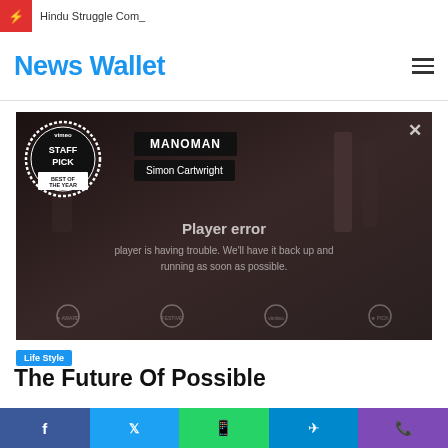Hindu Struggle Com_
News Wallet
[Figure (screenshot): Vimeo video player showing MANOMAN by Simon Cartwright with Vimeo Staff Pick Best of the Year badge. Player error message displayed: 'Player error — player is having trouble. We'll have it back up and running as soon as possible.']
Life Style
The Future Of Possible
Social share bar with Facebook, Twitter, WhatsApp, Telegram, and Viber buttons